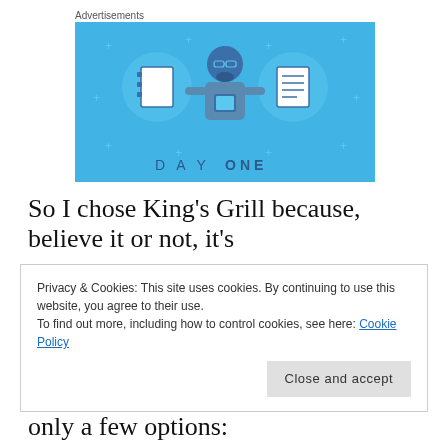Advertisements
[Figure (illustration): Day One app advertisement on blue background showing a person holding a phone between two notebook icons, with text 'DAY ONE' at the bottom]
So I chose King’s Grill because, believe it or not, it’s
Privacy & Cookies: This site uses cookies. By continuing to use this website, you agree to their use.
To find out more, including how to control cookies, see here: Cookie Policy
Close and accept
lucky) Reading Library. There are only a few options: